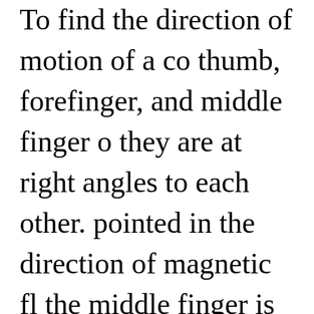To find the direction of motion of a conductor, the thumb, forefinger, and middle finger of the left hand so they are at right angles to each other. If the forefinger is pointed in the direction of magnetic flux and the middle finger is pointed in the direction of current in the conductor, the thumb will point in the direction the conductor will move. Stated very simply, a DC motor rotate